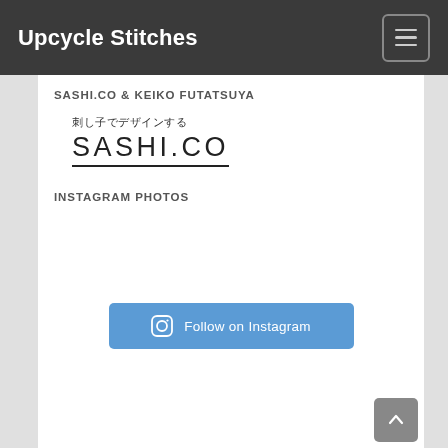Upcycle Stitches
SASHI.CO & KEIKO FUTATSUYA
[Figure (logo): SASHI.CO logo with Japanese text '刺し子でデザインする' above and 'SASHI.CO' in large stylized letters below]
INSTAGRAM PHOTOS
Follow on Instagram